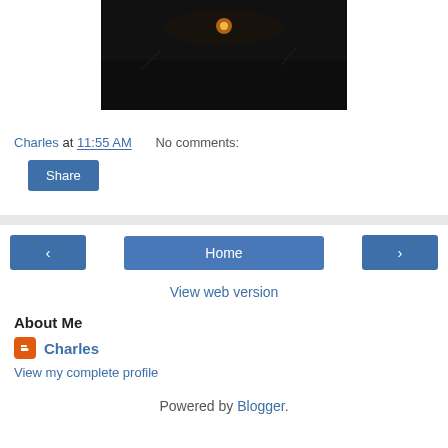[Figure (photo): Dark nighttime or dusk outdoor photo with a faint sun or light source visible near the top center, landscape is very dark]
Charles at 11:55 AM    No comments:
Share
‹   Home   ›
View web version
About Me
Charles
View my complete profile
Powered by Blogger.